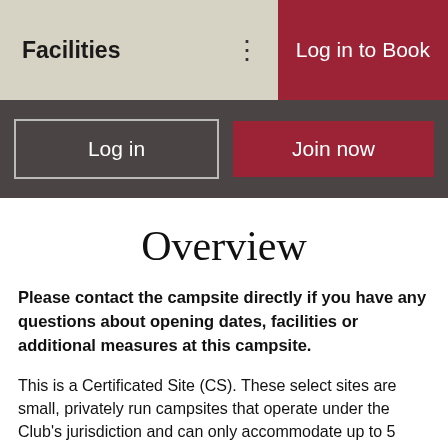Facilities   ⋮   Log in to Book
Log in   Join now
Overview
Please contact the campsite directly if you have any questions about opening dates, facilities or additional measures at this campsite.
This is a Certificated Site (CS). These select sites are small, privately run campsites that operate under the Club's jurisdiction and can only accommodate up to 5 caravans or